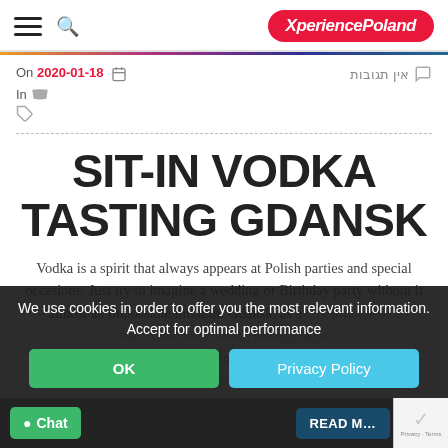XperiencePoland
On 2020-01-18  In  אין תגובות
SIT-IN VODKA TASTING GDANSK
Vodka is a spirit that always appears at Polish parties and special occasions. Just try to imagine a wedding or Birthday party without it – almost an impossible mission! Gdansk, as a city influenced by many different cultures through ages, has its own vodka tradition. In the XVI century, Dutchman Ambrose introduced an improved vodka called Dolayte
We use cookies in order to offer you the most relevant information. Accept for optimal performance
OK
Privacy Policy
Chat
READ M...